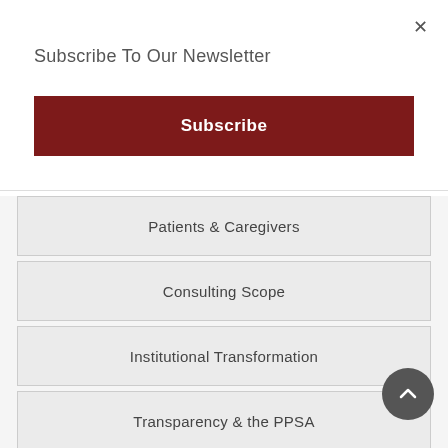×
Subscribe To Our Newsletter
Subscribe
Patients & Caregivers
Consulting Scope
Institutional Transformation
Transparency & the PPSA
Appeal Letter Templates
Full Curriculum Vitae